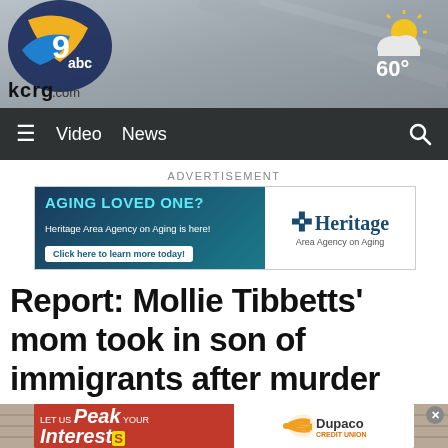[Figure (logo): KCRG TV9 ABC logo with kcrg.com text]
[Figure (illustration): Weather icon showing partly sunny, 60 degrees]
≡  Video  News  🔍
ADVERTISEMENT
[Figure (other): Heritage Area Agency on Aging advertisement banner. Text: AGING LOVED ONE? Heritage Area Agency on Aging is here! Click here to learn more today!]
Report: Mollie Tibbetts' mom took in son of immigrants after murder suspect's arrest
[Figure (other): Dupaco Credit Union advertisement: LET US Peak YOUR Interest(s) - Federally Insured by NCUA]